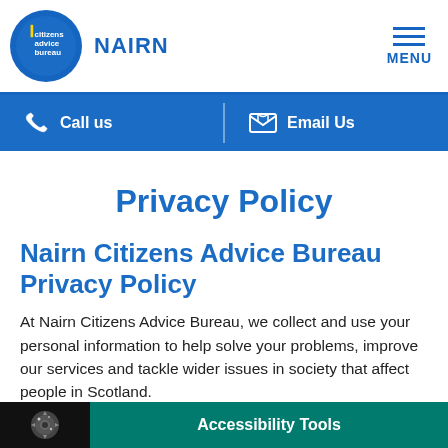[Figure (logo): Citizens Advice Bureau circular blue logo with 'citizens advice bureau' text and a vertical yellow bar, alongside 'NAIRN' text in blue]
[Figure (other): Hamburger menu icon with three horizontal blue lines and 'MENU' label below]
Call us | Email Us
Privacy Policy
Nairn Citizens Advice Bureau Privacy Policy
At Nairn Citizens Advice Bureau, we collect and use your personal information to help solve your problems, improve our services and tackle wider issues in society that affect people in Scotland.
Accessibility Tools